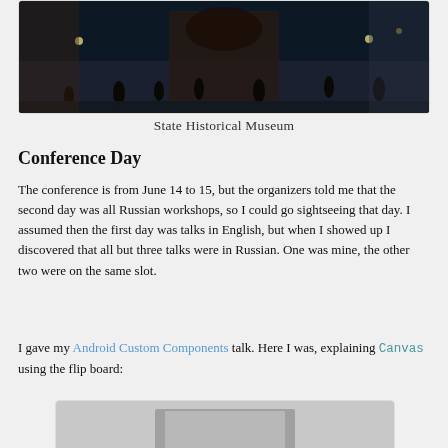[Figure (photo): Night outdoor photo of people near State Historical Museum plaza]
State Historical Museum
Conference Day
The conference is from June 14 to 15, but the organizers told me that the second day was all Russian workshops, so I could go sightseeing that day. I assumed then the first day was talks in English, but when I showed up I discovered that all but three talks were in Russian. One was mine, the other two were on the same slot.
I gave my Android Custom Components talk. Here I was, explaining Canvas using the flip board:
[Figure (photo): Photo of person explaining Canvas using a flip board]